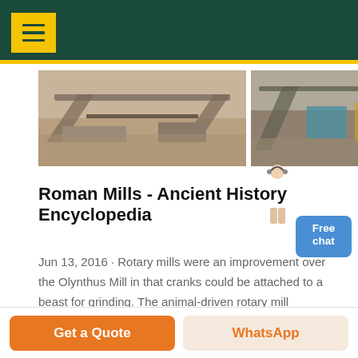[Figure (photo): Three photos of industrial stone crushing/milling equipment outdoors]
Roman Mills - Ancient History Encyclopedia
Jun 13, 2016 · Rotary mills were an improvement over the Olynthus Mill in that cranks could be attached to a beast for grinding. The animal-driven rotary mill appeared around the 3rd century BCE in Italy, one of the best examples
Get a Quote  WhatsApp